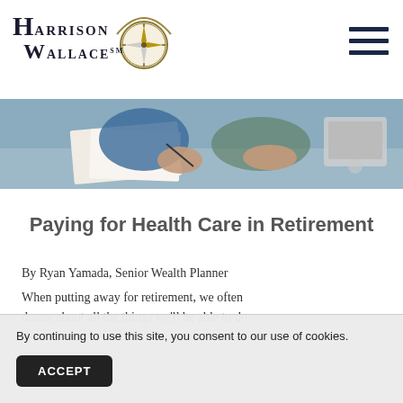Harrison Wallace
[Figure (photo): Person at a desk reviewing financial documents near a laptop]
Paying for Health Care in Retirement
By Ryan Yamada, Senior Wealth Planner
When putting away for retirement, we often dream about all the things we’ll be able to do
By continuing to use this site, you consent to our use of cookies.